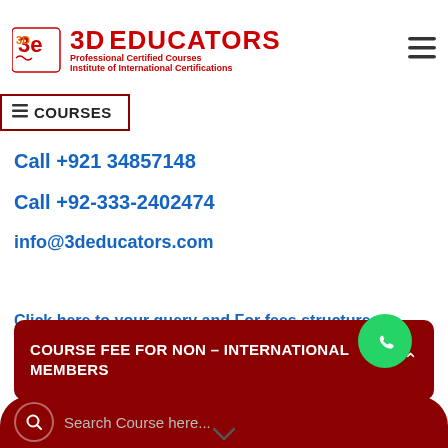[Figure (logo): 3D Educators logo with text: Professional Certified Courses, Institute of International Certifications]
≡ COURSES
Call +921 34857148
Call +92-333-2402474
info@3deducators.com
Click here to your query and For fees structure, Members will have up to 50% Discounts with free Seminars or Webinars
COURSE FEE FOR NON – INTERNATIONAL MEMBERS
Search Course here...